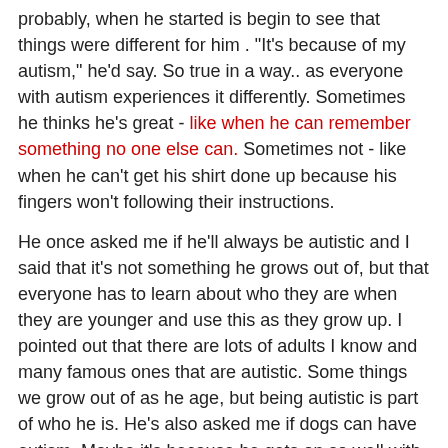probably, when he started is begin to see that things were different for him .  "It's because of my autism," he'd say.  So true in a way.. as everyone with autism experiences it differently. Sometimes he thinks he's great - like when he can remember something no one else can.  Sometimes not - like when he can't get his shirt done up because his fingers won't following their instructions.

He once asked me if he'll always be autistic and I said that it's not something he grows out of, but that everyone has to learn about who they are when they are younger and use this as they grow up.  I pointed out that there are lots of adults I know and many famous ones that are autistic.  Some things we grow out of as he age, but being autistic is part of who he is.  He's also asked me if dogs can have autism.  Maybe it's because he gets on so well with them.

He's beginning to think about what it means when he gets older.  A while ago we was worried that he wouldn't be a good father because he found understanding people difficult and he was worried about not being able to work with his own kids.  "What if I can't help them with their homework?